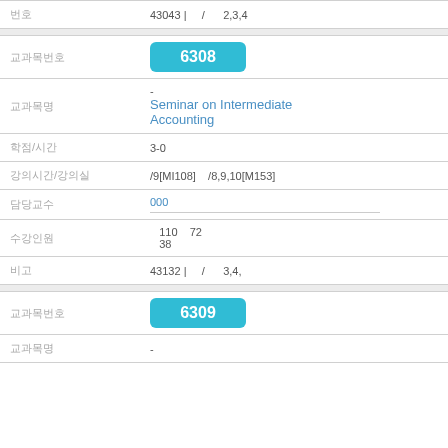| field | value |
| --- | --- |
| 번호 | 43043 | / 2,3,4 |
| 교과목번호 | 6308 |
| 교과목명 | - Seminar on Intermediate Accounting |
| 학점/시간 | 3-0 |
| 강의시간/강의실 | /9[MI108] /8,9,10[M153] |
| 담당교수 | 000 |
| 수강인원 | 110 72 38 |
| 비고 | 43132 | / 3,4, |
| 교과목번호 | 6309 |
| 교과목명 | - |